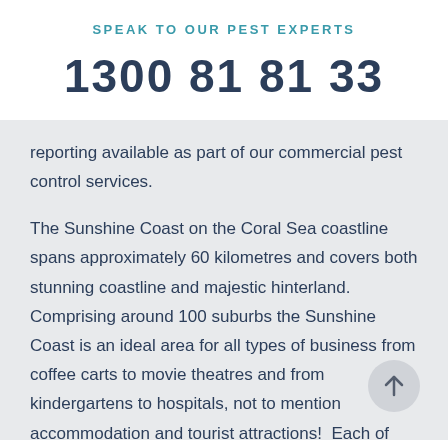SPEAK TO OUR PEST EXPERTS
1300 81 81 33
reporting available as part of our commercial pest control services.
The Sunshine Coast on the Coral Sea coastline spans approximately 60 kilometres and covers both stunning coastline and majestic hinterland. Comprising around 100 suburbs the Sunshine Coast is an ideal area for all types of business from coffee carts to movie theatres and from kindergartens to hospitals, not to mention accommodation and tourist attractions!  Each of these Sunshine Coast companies and business are governed by Queensland Pest Control Legislation